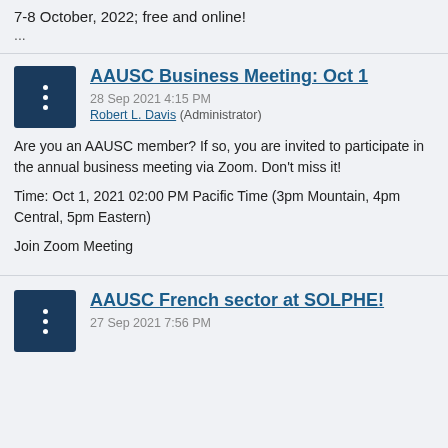7-8 October, 2022; free and online!
...
AAUSC Business Meeting: Oct 1
28 Sep 2021 4:15 PM
Robert L. Davis (Administrator)
Are you an AAUSC member?  If so, you are invited to participate in the annual business meeting via Zoom. Don't miss it!
Time: Oct 1, 2021 02:00 PM Pacific Time (3pm Mountain, 4pm Central, 5pm Eastern)
Join Zoom Meeting
AAUSC French sector at SOLPHE!
27 Sep 2021 7:56 PM